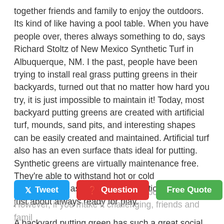together friends and family to enjoy the outdoors. Its kind of like having a pool table. When you have people over, theres always something to do, says Richard Stoltz of New Mexico Synthetic Turf in Albuquerque, NM. I the past, people have been trying to install real grass putting greens in their backyards, turned out that no matter how hard you try, it is just impossible to maintain it! Today, most backyard putting greens are created with artificial turf, mounds, sand pits, and interesting shapes can be easily created and maintained. Artificial turf also has an even surface thats ideal for putting. Synthetic greens are virtually maintenance free. They're able to withstand hot or cold temperatures, as well as wet conditions, and are just about always ready for play.
A backyard putting green has such a great social element to it that youll use it a lot more if its close to patios or other
green gets boing fast. However, if you make it challenging, friends and famil...